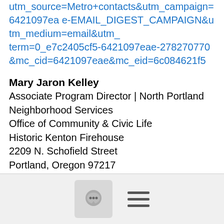utm_source=Metro+contacts&utm_campaign=6421097eae-EMAIL_DIGEST_CAMPAIGN&utm_medium=email&utm_term=0_e7c2405cf5-6421097eae-278270770&mc_cid=6421097eae&mc_eid=6c084621f5
Mary Jaron Kelley
Associate Program Director | North Portland Neighborhood Services
Office of Community & Civic Life
Historic Kenton Firehouse
2209 N. Schofield Street
Portland, Oregon 97217
503-823-8877 (cell) new number
mary@...
www.
[Figure (screenshot): Bottom navigation bar with a chat bubble icon button and a hamburger menu icon]